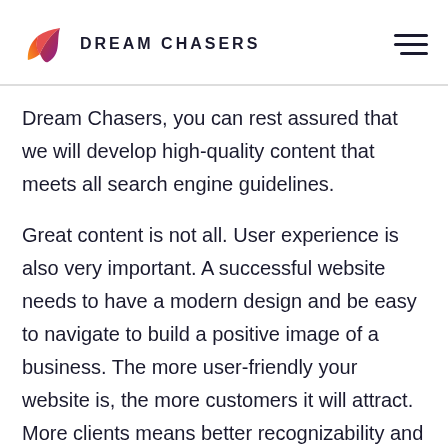DREAM CHASERS
Dream Chasers, you can rest assured that we will develop high-quality content that meets all search engine guidelines.
Great content is not all. User experience is also very important. A successful website needs to have a modern design and be easy to navigate to build a positive image of a business. The more user-friendly your website is, the more customers it will attract. More clients means better recognizability and a higher Google ranking.